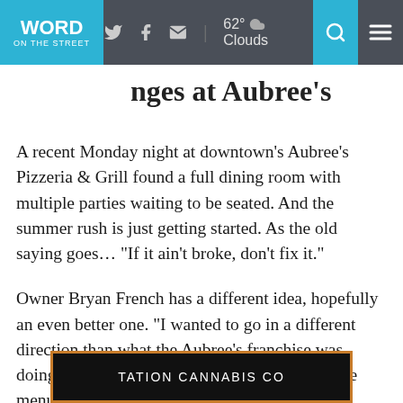WORD ON THE STREET | 62° Clouds
…nges at Aubree's
A recent Monday night at downtown's Aubree's Pizzeria & Grill found a full dining room with multiple parties waiting to be seated.  And the summer rush is just getting started.  As the old saying goes… “If it ain’t broke, don’t fix it.”
Owner Bryan French has a different idea, hopefully an even better one.  “I wanted to go in a different direction than what the Aubree’s franchise was doing. I wanted to bring some new flavors to the menu, with a big focus on fresh ingredients.”
[Figure (other): Partial advertisement banner for Station Cannabis Co. with dark background and orange border, text partially visible reading 'TATION CANNABIS CO']